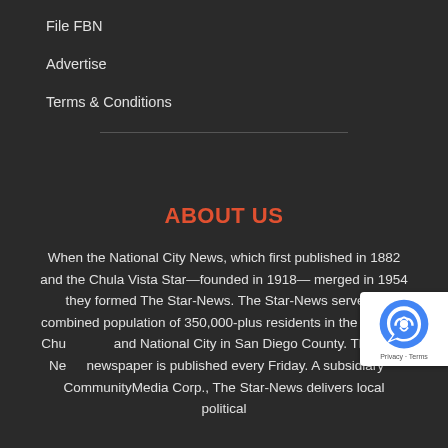File FBN
Advertise
Terms & Conditions
ABOUT US
When the National City News, which first published in 1882 and the Chula Vista Star—founded in 1918— merged in 1954 they formed The Star-News. The Star-News serves a combined population of 350,000-plus residents in the cities of Chula Vista and National City in San Diego County. The Star-News newspaper is published every Friday. A subsidiary of CommunityMedia Corp., The Star-News delivers local political